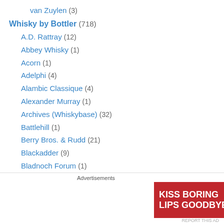van Zuylen (3)
Whisky by Bottler (718)
A.D. Rattray (12)
Abbey Whisky (1)
Acorn (1)
Adelphi (4)
Alambic Classique (4)
Alexander Murray (1)
Archives (Whiskybase) (32)
Battlehill (1)
Berry Bros. & Rudd (21)
Blackadder (9)
Bladnoch Forum (1)
C&S (5)
Cadenhead (52)
Captain Burn's (1)
Advertisements
[Figure (photo): Macy's advertisement banner: Kiss Boring Lips Goodbye, Shop Now button, Macy's logo with star, woman with red lipstick]